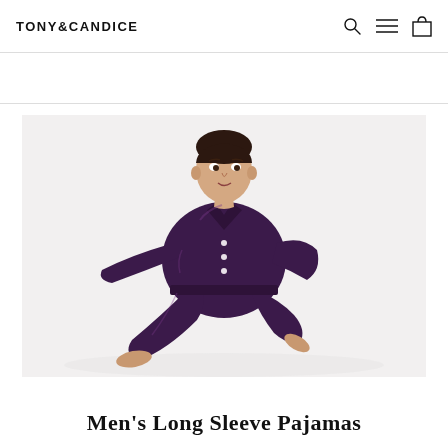TONY&CANDICE
[Figure (photo): Young man seated on white background wearing dark purple satin long sleeve pajamas set, looking to the side, barefoot]
Men's Long Sleeve Pajamas